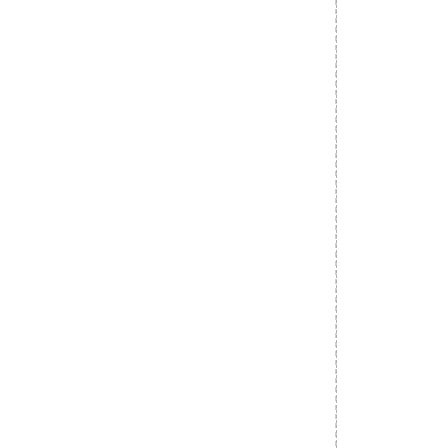ed .the coalition is looking to rep
[Figure (other): Two vertical dashed lines running the full height of the page, with vertically-oriented text characters reading downward along the right dashed line: 'ed .the coalition is looking to rep']